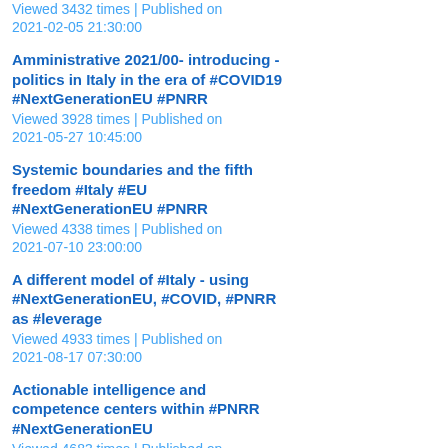Viewed 3432 times | Published on 2021-02-05 21:30:00
Amministrative 2021/00- introducing - politics in Italy in the era of #COVID19 #NextGenerationEU #PNRR
Viewed 3928 times | Published on 2021-05-27 10:45:00
Systemic boundaries and the fifth freedom #Italy #EU #NextGenerationEU #PNRR
Viewed 4338 times | Published on 2021-07-10 23:00:00
A different model of #Italy - using #NextGenerationEU, #COVID, #PNRR as #leverage
Viewed 4933 times | Published on 2021-08-17 07:30:00
Actionable intelligence and competence centers within #PNRR #NextGenerationEU
Viewed 4683 times | Published on 2021-09-29 22:55:00